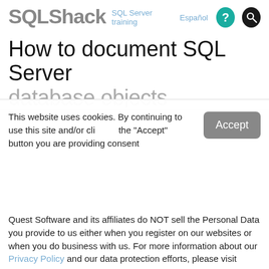SQLShack | SQL Server training | Español
How to document SQL Server
This website uses cookies. By continuing to use this site and/or clicking the "Accept" button you are providing consent
Quest Software and its affiliates do NOT sell the Personal Data you provide to us either when you register on our websites or when you do business with us. For more information about our Privacy Policy and our data protection efforts, please visit GDPR-HQ